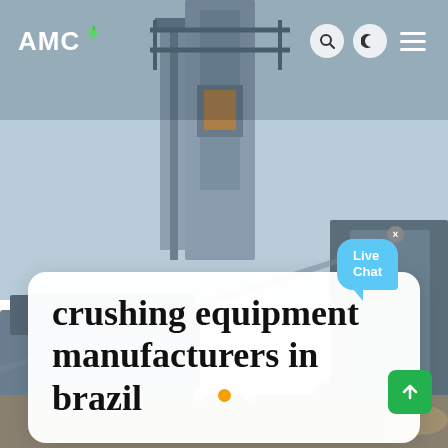[Figure (photo): Industrial crushing equipment / conveyor machinery at a mining or aggregate plant against a light blue sky. Steel structural frames, conveyors, hoppers visible.]
AMC
crushing equipment manufacturers in brazil
[Figure (other): Live Chat speech bubble widget with X close button, light blue color]
Live Chat